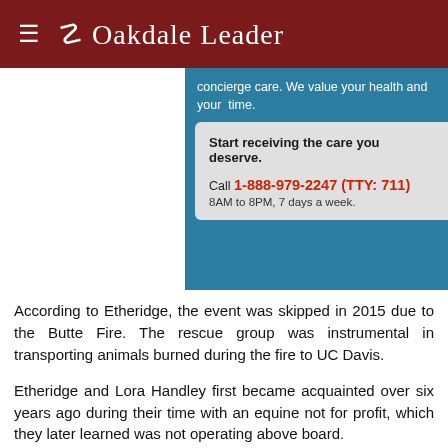≡ Oakdale Leader
[Figure (infographic): Healthcare advertisement banner: 'concierge care. We value your health and your time. Start receiving the care you deserve. Call 1-888-979-2247 (TTY: 711) 8AM to 8PM, 7 days a week.']
According to Etheridge, the event was skipped in 2015 due to the Butte Fire. The rescue group was instrumental in transporting animals burned during the fire to UC Davis.
Etheridge and Lora Handley first became acquainted over six years ago during their time with an equine not for profit, which they later learned was not operating above board.
"At the time we ended up with six horses and I managed to get ahold of Lora and get all the horses in a secure location," Etheridge recounted of the underhanded not for profit and its victims.